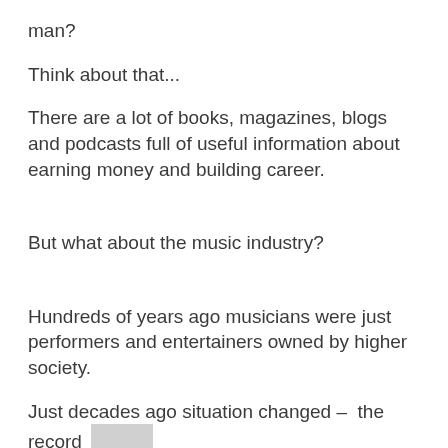man?
Think about that...
There are a lot of books, magazines, blogs and podcasts full of useful information about earning money and building career.
But what about the music industry?
Hundreds of years ago musicians were just performers and entertainers owned by higher society.
Just decades ago situation changed –  the record companies owned musicians.